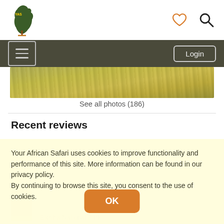Your African Safari logo, heart icon, search icon
Hamburger menu, Login button
[Figure (photo): Partial photo of African savanna grassland, golden-green grass]
See all photos (186)
Recent reviews
Your African Safari uses cookies to improve functionality and performance of this site. More information can be found in our privacy policy. By continuing to browse this site, you consent to the use of cookies.
OK